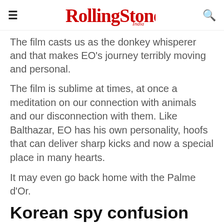Rolling Stone India
The film casts us as the donkey whisperer and that makes EO’s journey terribly moving and personal.
The film is sublime at times, at once a meditation on our connection with animals and our disconnection with them. Like Balthazar, EO has his own personality, hoofs that can deliver sharp kicks and now a special place in many hearts.
It may even go back home with the Palme d’Or.
Korean spy confusion
[Figure (photo): Partial grayscale image visible at bottom of page, appears to show an interior scene with shelves or blinds]